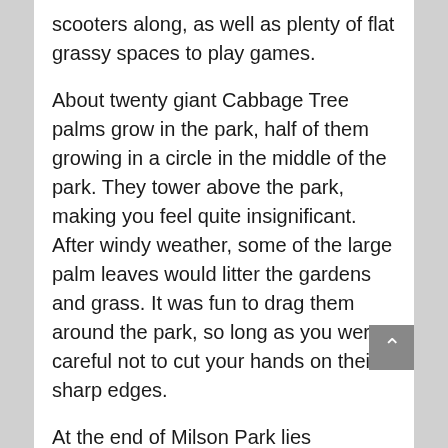scooters along, as well as plenty of flat grassy spaces to play games.
About twenty giant Cabbage Tree palms grow in the park, half of them growing in a circle in the middle of the park. They tower above the park, making you feel quite insignificant. After windy weather, some of the large palm leaves would litter the gardens and grass. It was fun to drag them around the park, so long as you were careful not to cut your hands on their sharp edges.
At the end of Milson Park lies Careening Cove. An inclined sandstone sea wall rises from